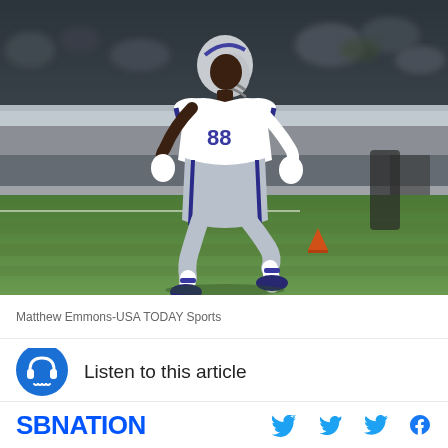[Figure (photo): Dallas Cowboys wide receiver wearing jersey number 88 in white uniform with navy blue accents running on a football field during a game, with blurred crowd and stadium in background. Photo credit: Matthew Emmons-USA TODAY Sports]
Matthew Emmons-USA TODAY Sports
Listen to this article
SBNATION